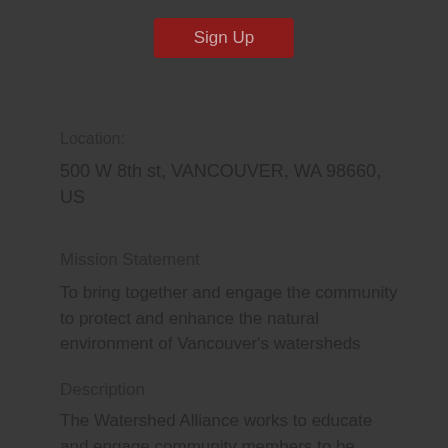[Figure (other): Red 'Sign Up' button]
Location:
500 W 8th st, VANCOUVER, WA 98660, US
Mission Statement
To bring together and engage the community to protect and enhance the natural environment of Vancouver's watersheds
Description
The Watershed Alliance works to educate and engage community members to be active stewards of the